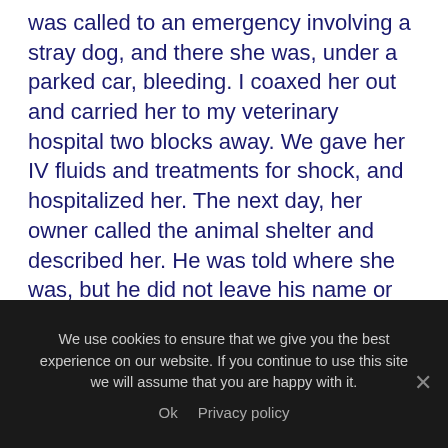was called to an emergency involving a stray dog, and there she was, under a parked car, bleeding. I coaxed her out and carried her to my veterinary hospital two blocks away. We gave her IV fluids and treatments for shock, and hospitalized her. The next day, her owner called the animal shelter and described her. He was told where she was, but he did not leave his name or phone number. He never came for Shady.

“Shady was not hurt that badly. She had an ugly tumor over her eyelid, and her face was totally grey. She was very, very stiff and hurt all over. She had a moderate heart murmur, but she was so friendly and
We use cookies to ensure that we give you the best experience on our website. If you continue to use this site we will assume that you are happy with it.
Ok   Privacy policy